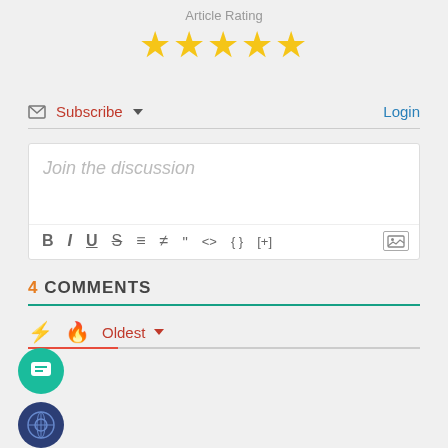Article Rating
[Figure (other): 5 gold star rating icons]
Subscribe ▾
Login
Join the discussion
B I U S ≡ ≡ " <> {} [+]
4 COMMENTS
⚡ 🔥 Oldest ▾